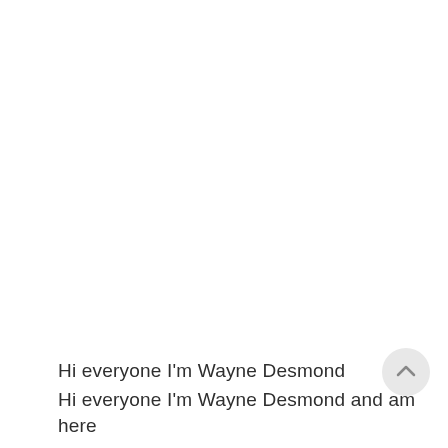[Figure (other): A circular scroll-to-top button with an upward-pointing chevron arrow, light grey background, positioned near the bottom-right of the page.]
Hi everyone I'm Wayne Desmond
Hi everyone I'm Wayne Desmond and am here